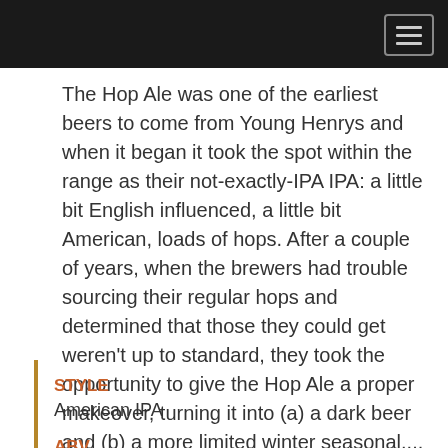The Hop Ale was one of the earliest beers to come from Young Henrys and when it began it took the spot within the range as their not-exactly-IPA IPA: a little bit English influenced, a little bit American, loads of hops. After a couple of years, when the brewers had trouble sourcing their regular hops and determined that those they could get weren't up to standard, they took the opportunity to give the Hop Ale a proper makeover, turning it into (a) a dark beer and (b) a more limited winter seasonal.... Read more ▶
STYLE
American IPA
ABV
6.1%